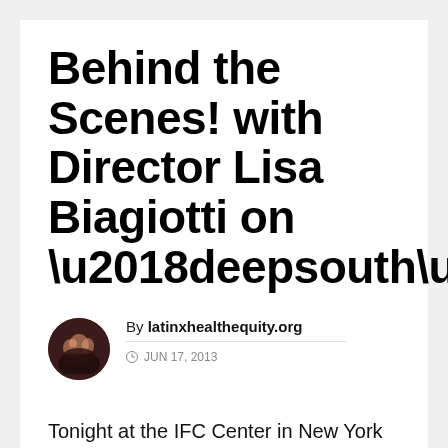Behind the Scenes! with Director Lisa Biagiotti on ‘deepsouth’
By latinxhealthequity.org © JUN 17, 2013
Tonight at the IFC Center in New York City, Lisa Biagiotti’s film ‘deepsouth’ is premiering as part of the Human Righ...